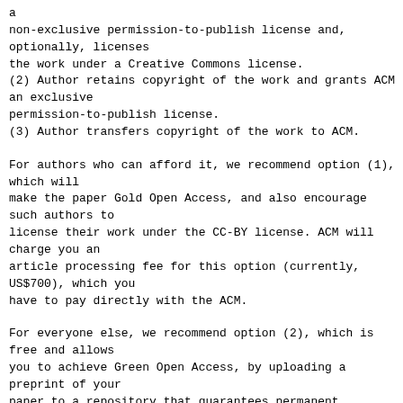a
non-exclusive permission-to-publish license and,
optionally, licenses
the work under a Creative Commons license.
(2) Author retains copyright of the work and grants ACM
an exclusive
permission-to-publish license.
(3) Author transfers copyright of the work to ACM.
For authors who can afford it, we recommend option (1), which will
make the paper Gold Open Access, and also encourage such authors to
license their work under the CC-BY license. ACM will charge you an
article processing fee for this option (currently, US$700), which you
have to pay directly with the ACM.
For everyone else, we recommend option (2), which is free and allows
you to achieve Green Open Access, by uploading a preprint of your
paper to a repository that guarantees permanent archival such as arXiv
or HAL. This is anyway a good idea for timely dissemination even if
you chose option 1. Ensuring timely dissemination is particularly
important for this edition, since, because of the very